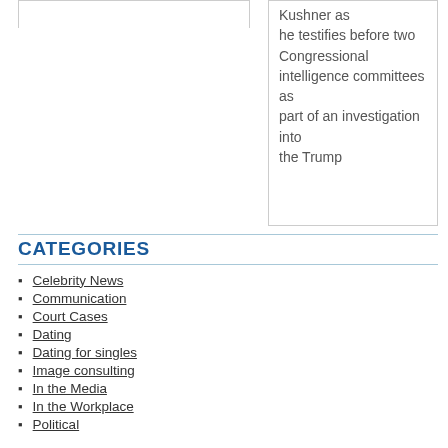Kushner as he testifies before two Congressional intelligence committees as part of an investigation into the Trump
CATEGORIES
Celebrity News
Communication
Court Cases
Dating
Dating for singles
Image consulting
In the Media
In the Workplace
Political